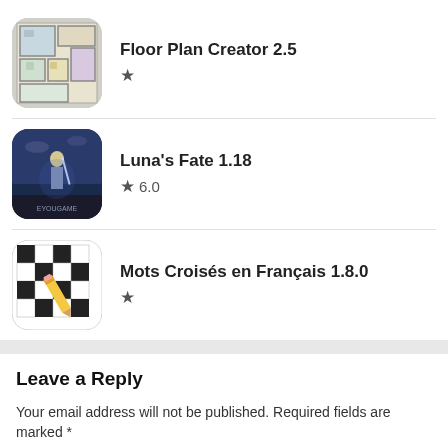[Figure (screenshot): App icon for Floor Plan Creator 2.5 – a top-down floor plan illustration]
Floor Plan Creator 2.5
★
[Figure (screenshot): App icon for Luna's Fate 1.18 – fantasy warrior character with sword, EYOUGAME branding]
Luna's Fate 1.18
★ 6.0
[Figure (screenshot): App icon for Mots Croisés en Français 1.8.0 – crossword grid with yellow pencil]
Mots Croisés en Français 1.8.0
★
Leave a Reply
Your email address will not be published. Required fields are marked *
comment here...
Name